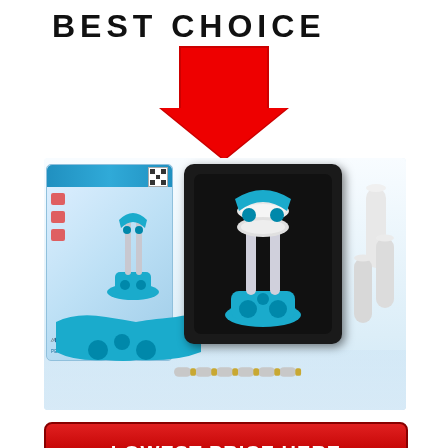BEST CHOICE
[Figure (illustration): Large red downward-pointing arrow above a product image of QuickExtender device and packaging]
[Figure (photo): QuickExtender Pro product photo showing the device in a black case alongside its packaging box and accessories on a white reflective surface]
LOWEST PRICE HERE
Review to learn more about pricing